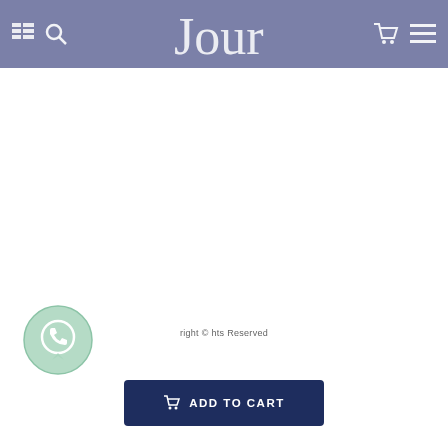Navigation header with grid icon, search icon, logo (cursive), cart icon, menu icon
[Figure (logo): Cursive script logo in white on purple/slate-blue header background]
[Figure (illustration): WhatsApp circular button icon in mint green]
Copyright © All Rights Reserved
ADD TO CART